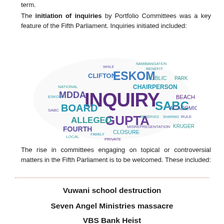term.
The initiation of inquiries by Portfolio Committees was a key feature of the Fifth Parliament. Inquiries initiated included:
[Figure (infographic): Word cloud featuring inquiry-related terms such as INQUIRY (largest, dark purple), ESKOM, GUPTA, SABC, BOARD, MDDA, ALLEGED, FOURTH, CLIFTON, CHAIRPERSON, PUBLIC, PARK, BEACH, ACADEMIC, KRUGER, CLOSURE, MISREPRESENTATION, and many other smaller words in teal, blue, and purple colors.]
The rise in committees engaging on topical or controversial matters in the Fifth Parliament is to be welcomed. These included:
Vuwani school destruction
Seven Angel Ministries massacre
VBS Bank Heist